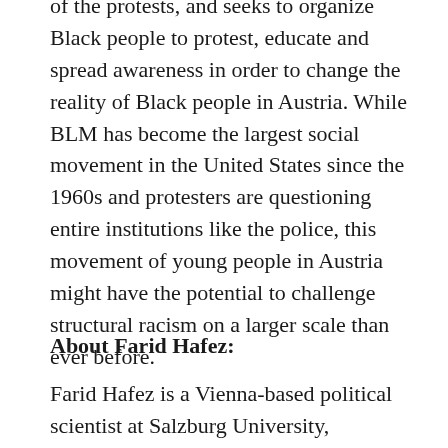of the protests, and seeks to organize Black people to protest, educate and spread awareness in order to change the reality of Black people in Austria. While BLM has become the largest social movement in the United States since the 1960s and protesters are questioning entire institutions like the police, this movement of young people in Austria might have the potential to challenge structural racism on a larger scale than ever before.
About Farid Hafez:
Farid Hafez is a Vienna-based political scientist at Salzburg University,